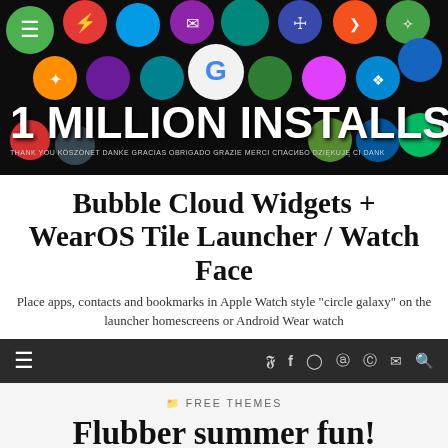[Figure (illustration): Banner image showing colorful app icons on dark background with text '1 MILLION INSTALLS' and subtitle 'THANK YOU KÖSZÖNET DANKE GRACIAS ...']
Bubble Cloud Widgets + WearOS Tile Launcher / Watch Face
Place apps, contacts and bookmarks in Apple Watch style "circle galaxy" on the launcher homescreens or Android Wear watch
≡  Twitter  Facebook  Instagram  YouTube  Reddit  Email  Search
FREE THEMES
Flubber summer fun!
JULY 12, 2019  0 COMMENTS
Please share:
[Figure (other): Social share buttons: Reddit, count (2?), Facebook, Twitter, Email, Share+]